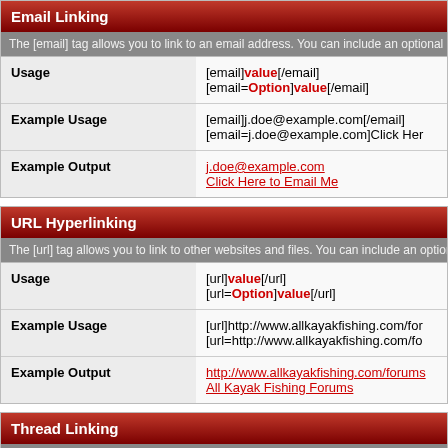Email Linking
The [email] tag allows you to link to an email address. You can include an optional par
| Usage | Value |
| --- | --- |
| Usage | [email]value[/email]
[email=Option]value[/email] |
| Example Usage | [email]j.doe@example.com[/email]
[email=j.doe@example.com]Click Her |
| Example Output | j.doe@example.com
Click Here to Email Me |
URL Hyperlinking
The [url] tag allows you to link to other websites and files. You can include an optional
| Usage | Value |
| --- | --- |
| Usage | [url]value[/url]
[url=Option]value[/url] |
| Example Usage | [url]http://www.allkayakfishing.com/for
[url=http://www.allkayakfishing.com/fo |
| Example Output | http://www.allkayakfishing.com/forums
All Kayak Fishing Forums |
Thread Linking
The [thread] tag allows you to link to threads by specifying the thread id. You can inclu
| Usage | Value |
| --- | --- |
| Usage | [thread]threadid[/thread] |